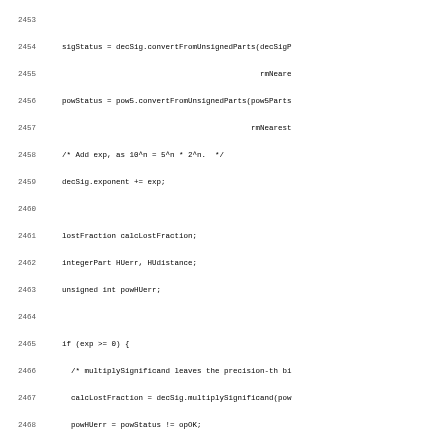[Figure (other): Source code listing (C/C++) with line numbers 2453-2485, showing floating-point conversion logic including sigStatus, powStatus, exponent adjustment, lostFraction calculation, and conditional multiply/divide significand operations.]